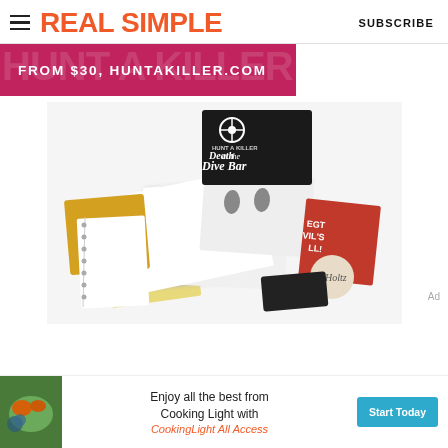REAL SIMPLE   SUBSCRIBE
FROM $30, HUNTAKILLER.COM
[Figure (photo): Hunt A Killer 'Death at the Dive Bar' murder mystery game box surrounded by various game materials including documents, clue cards, yellow notepad, and a black bag spread out on a white surface.]
[Figure (screenshot): Advertisement banner: 'Enjoy all the best from Cooking Light with CookingLight All Access' with a Start Today button, alongside a food photo.]